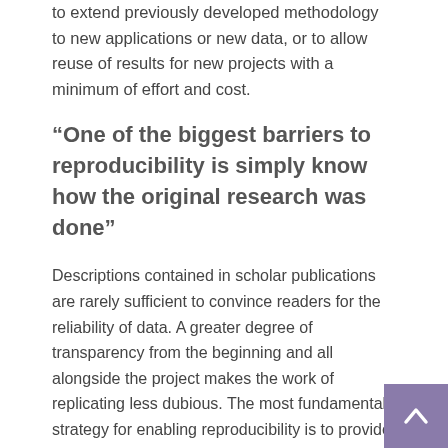to extend previously developed methodology to new applications or new data, or to allow reuse of results for new projects with a minimum of effort and cost.
“One of the biggest barriers to reproducibility is simply know how the original research was done”
Descriptions contained in scholar publications are rarely sufficient to convince readers for the reliability of data. A greater degree of transparency from the beginning and all alongside the project makes the work of replicating less dubious. The most fundamental strategy for enabling reproducibility is to provide a detailed, written description of the process. Biocorpora databases enable scientists to describe the way studies were done in detail.
The experimental protocol and all experimental details, such as date, operator and conditions such as concentration, dose, number of replicates, vehicle